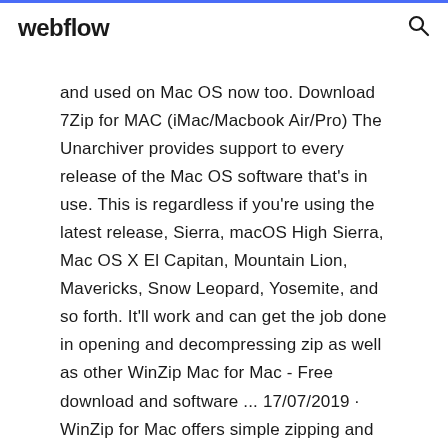webflow
and used on Mac OS now too. Download 7Zip for MAC (iMac/Macbook Air/Pro) The Unarchiver provides support to every release of the Mac OS software that’s in use. This is regardless if you’re using the latest release, Sierra, macOS High Sierra, Mac OS X El Capitan, Mountain Lion, Mavericks, Snow Leopard, Yosemite, and so forth. It’ll work and can get the job done in opening and decompressing zip as well as other WinZip Mac for Mac - Free download and software ... 17/07/2019 · WinZip for Mac offers simple zipping and unzipping right from its new Files pane. Enjoy one-click access, multiple viewing layouts, drag-and-drop ...